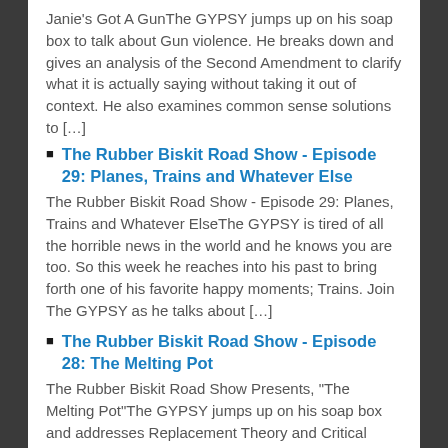Janie&apos;s Got A GunThe GYPSY jumps up on his soap box to talk about Gun violence. He breaks down and gives an analysis of the Second Amendment to clarify what it is actually saying without taking it out of context. He also examines common sense solutions to […]
The Rubber Biskit Road Show - Episode 29: Planes, Trains and Whatever Else
The Rubber Biskit Road Show - Episode 29: Planes, Trains and Whatever ElseThe GYPSY is tired of all the horrible news in the world and he knows you are too. So this week he reaches into his past to bring forth one of his favorite happy moments; Trains. Join The GYPSY as he talks about […]
The Rubber Biskit Road Show - Episode 28: The Melting Pot
The Rubber Biskit Road Show Presents, "The Melting Pot"The GYPSY jumps up on his soap box and addresses Replacement Theory and Critical Race Theory. He also puts forward a theory of his own to negate the Replacement and Critical Race Theories.Please pray for the GYPSY&apos;s wife Raychel who is battling Breast